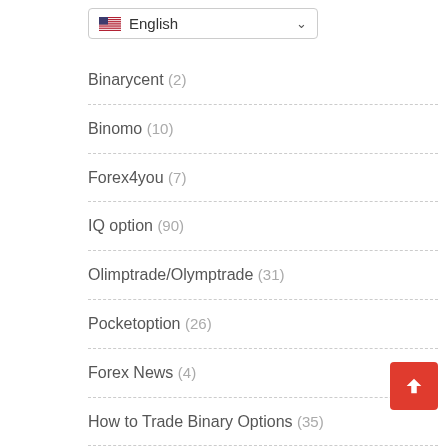[Figure (screenshot): Language dropdown showing US flag and 'English' with chevron]
Binarycent (2)
Binomo (10)
Forex4you (7)
IQ option (90)
Olimptrade/Olymptrade (31)
Pocketoption (26)
Forex News (4)
How to Trade Binary Options (35)
MetaTrader 4 Trading Signals with Automatic Execution on Your Account (4)
Portuguese (9)